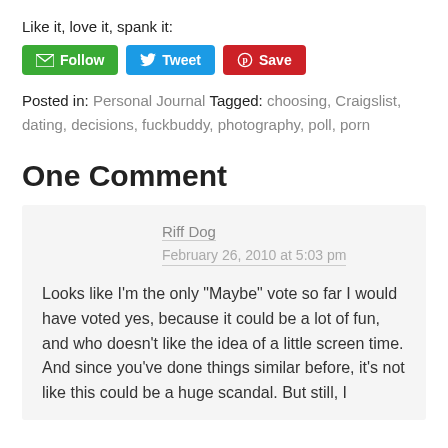Like it, love it, spank it:
[Figure (other): Three social sharing buttons: Follow (green), Tweet (blue), Save (red/Pinterest)]
Posted in: Personal Journal Tagged: choosing, Craigslist, dating, decisions, fuckbuddy, photography, poll, porn
One Comment
Riff Dog
February 26, 2010 at 5:03 pm

Looks like I'm the only "Maybe" vote so far I would have voted yes, because it could be a lot of fun, and who doesn't like the idea of a little screen time. And since you've done things similar before, it's not like this could be a huge scandal. But still, I